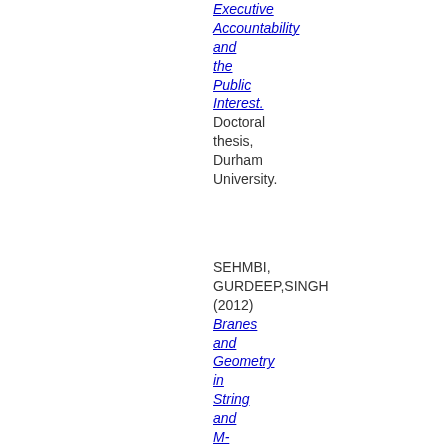Executive Accountability and the Public Interest. Doctoral thesis, Durham University.
SEHMBI, GURDEEP,SINGH (2012) Branes and Geometry in String and M-Theory.